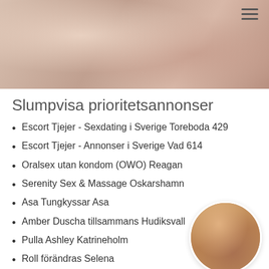[Figure (photo): Close-up photo of a person's back/torso, skin tones, soft lighting]
Slumpvisa prioritetsannonser
Escort Tjejer - Sexdating i Sverige Toreboda 429
Escort Tjejer - Annonser i Sverige Vad 614
Oralsex utan kondom (OWO) Reagan
Serenity Sex & Massage Oskarshamn
Asa Tungkyssar Asa
Amber Duscha tillsammans Hudiksvall
Pulla Ashley Katrineholm
Roll förändras Selena
[Figure (photo): Circular thumbnail photo of a person's torso in striped fabric background]